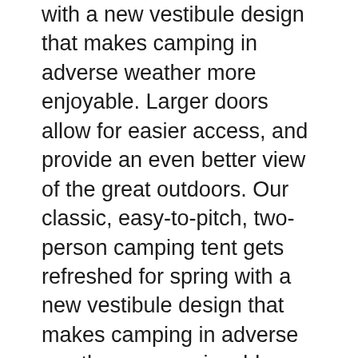with a new vestibule design that makes camping in adverse weather more enjoyable. Larger doors allow for easier access, and provide an even better view of the great outdoors. Our classic, easy-to-pitch, two-person camping tent gets refreshed for spring with a new vestibule design that makes camping in adverse weather more enjoyable. Larger doors allow for easier access, and provide an even better view of the great outdoors.
Use this coated polyester footprint under The North Face Stormbreak 2 Tent to protect its floor from abrasion and wear. Available at REI, 100% Satisfaction Guaranteed. 24/08/2018